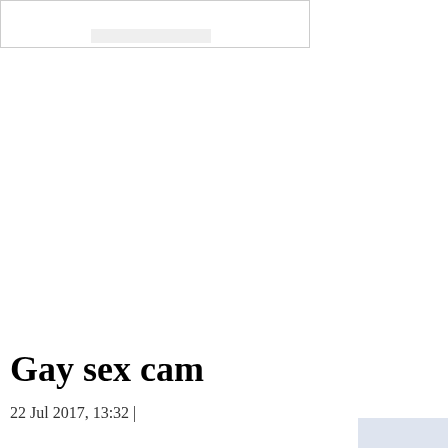[Figure (screenshot): Partial screenshot or image placeholder at top of page, showing a bordered rectangle with faint gray content inside]
Gay sex cam
22 Jul 2017, 13:32 |
[Figure (photo): Partial image visible at bottom right corner, cut off]